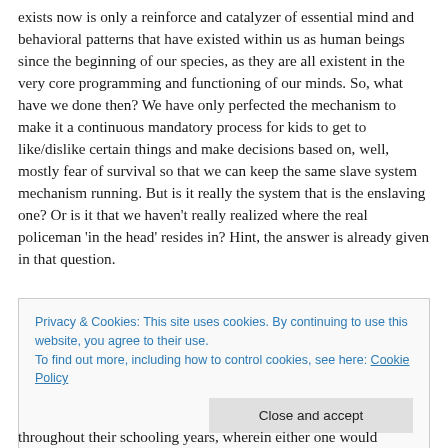exists now is only a reinforce and catalyzer of essential mind and behavioral patterns that have existed within us as human beings since the beginning of our species, as they are all existent in the very core programming and functioning of our minds. So, what have we done then? We have only perfected the mechanism to make it a continuous mandatory process for kids to get to like/dislike certain things and make decisions based on, well, mostly fear of survival so that we can keep the same slave system mechanism running. But is it really the system that is the enslaving one? Or is it that we haven't really realized where the real policeman 'in the head' resides in? Hint, the answer is already given in that question.
Privacy & Cookies: This site uses cookies. By continuing to use this website, you agree to their use.
To find out more, including how to control cookies, see here: Cookie Policy
throughout their schooling years, wherein either one would